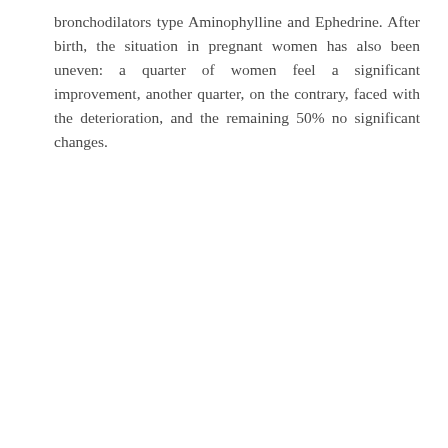bronchodilators type Aminophylline and Ephedrine. After birth, the situation in pregnant women has also been uneven: a quarter of women feel a significant improvement, another quarter, on the contrary, faced with the deterioration, and the remaining 50% no significant changes.